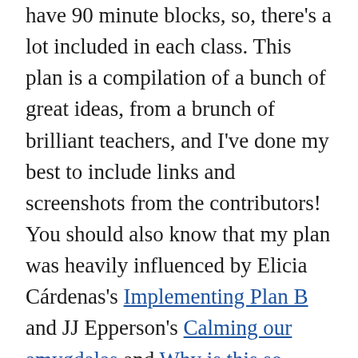have 90 minute blocks, so, there's a lot included in each class. This plan is a compilation of a bunch of great ideas, from a brunch of brilliant teachers, and I've done my best to include links and screenshots from the contributors! You should also know that my plan was heavily influenced by Elicia Cárdenas's Implementing Plan B and JJ Epperson's Calming our amygdalas and Why is this so hard? We're better together and I am so thankful to be in the incredible community of problem solving language teachers.
So, let's dive in, I'll show you what's on my Lesson Plan Template, my cheat sheet of low fun activities to make planning quick. I'll also show you what